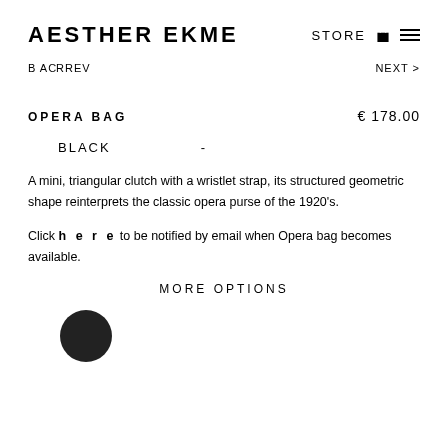AESTHER EKME
STORE  ≡
BACK REV   NEXT >
OPERA BAG
€ 178.00
BLACK  -
A mini, triangular clutch with a wristlet strap, its structured geometric shape reinterprets the classic opera purse of the 1920's.
Click here to be notified by email when Opera bag becomes available.
MORE OPTIONS
[Figure (photo): A small black circular product thumbnail]